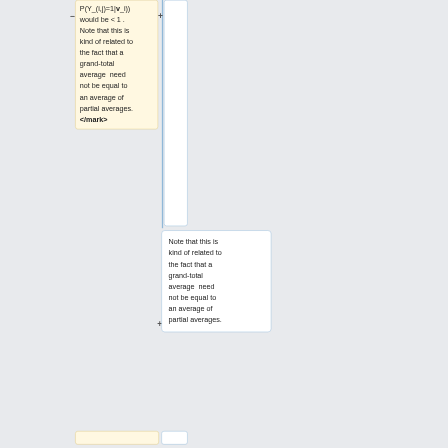P(Y_(i,j)=1|v_i)) would be < 1 . Note that this is kind of related to the fact that a grand-total average need not be equal to an average of partial averages. </mark>
Note that this is kind of related to the fact that a grand-total average need not be equal to an average of partial averages.